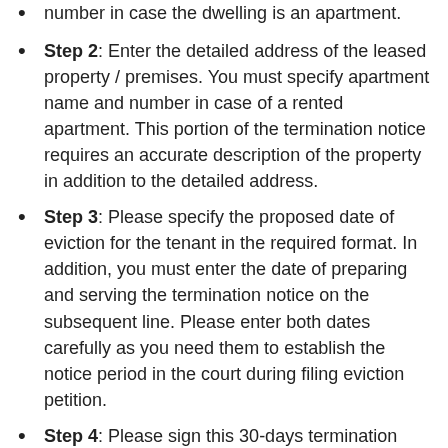number in case the dwelling is an apartment.
Step 2: Enter the detailed address of the leased property / premises. You must specify apartment name and number in case of a rented apartment. This portion of the termination notice requires an accurate description of the property in addition to the detailed address.
Step 3: Please specify the proposed date of eviction for the tenant in the required format. In addition, you must enter the date of preparing and serving the termination notice on the subsequent line. Please enter both dates carefully as you need them to establish the notice period in the court during filing eviction petition.
Step 4: Please sign this 30-days termination notice in capacity as the landlord, owner, or authorized agent or manager of the landlord. Your signature on this legal instrument is mandatory. Please specify your role below the